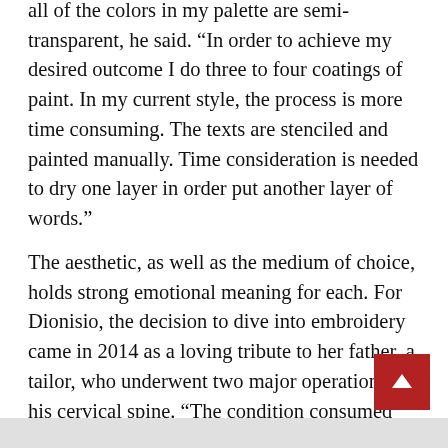all of the colors in my palette are semi-transparent, he said. “In order to achieve my desired outcome I do three to four coatings of paint. In my current style, the process is more time consuming. The texts are stenciled and painted manually. Time consideration is needed to dry one layer in order put another layer of words.”
The aesthetic, as well as the medium of choice, holds strong emotional meaning for each. For Dionisio, the decision to dive into embroidery came in 2014 as a loving tribute to her father, a tailor, who underwent two major operations on his cervical spine. “The condition consumed him and our whole family for two years,” she said. “I wanted to make the most out of our situation and I still continued on with what I was doing.”